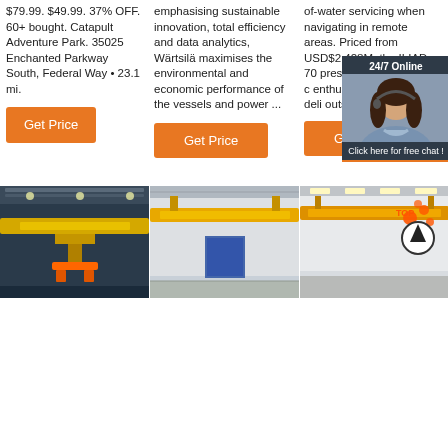$79.99. $49.99. 37% OFF. 60+ bought. Catapult Adventure Park. 35025 Enchanted Parkway South, Federal Way • 23.1 mi.
Get Price
emphasising sustainable innovation, total efficiency and data analytics, Wärtsilä maximises the environmental and economic performance of the vessels and power ...
Get Price
of-water servicing when navigating in remote areas. Priced from USD$2.428M, the ILIAD 70 presents exciting power c enthusias true cus that deli outstanc perform ...
[Figure (infographic): Live chat widget overlay with '24/7 Online' header, woman with headset photo, 'Click here for free chat!' text, and orange QUOTATION button]
Get Price
[Figure (photo): Industrial overhead crane in a factory/warehouse, yellow crane beam, industrial ceiling]
[Figure (photo): Industrial overhead crane in a warehouse with blue door, yellow crane beam]
[Figure (photo): Industrial overhead crane in bright warehouse, with orange TOP arrow graphic overlay]